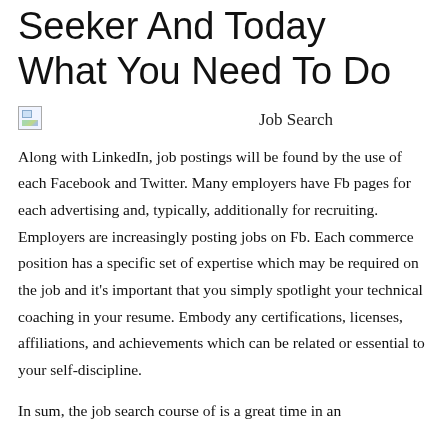Seeker And Today What You Need To Do
[Figure (photo): Broken image placeholder for a Job Search photo]
Job Search
Along with LinkedIn, job postings will be found by the use of each Facebook and Twitter. Many employers have Fb pages for each advertising and, typically, additionally for recruiting. Employers are increasingly posting jobs on Fb. Each commerce position has a specific set of expertise which may be required on the job and it's important that you simply spotlight your technical coaching in your resume. Embody any certifications, licenses, affiliations, and achievements which can be related or essential to your self-discipline.
In sum, the job search course of is a great time in an